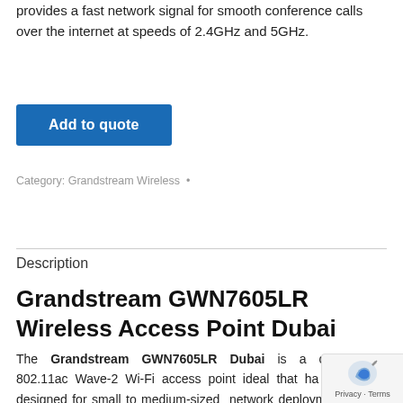provides a fast network signal for smooth conference calls over the internet at speeds of 2.4GHz and 5GHz.
Add to quote
Category: Grandstream Wireless  •
Description
Grandstream GWN7605LR Wireless Access Point Dubai
The Grandstream GWN7605LR Dubai is a cost-friendly 802.11ac Wave-2 Wi-Fi access point ideal that ha specifically designed for small to medium-sized network deployments which have medium user density. A